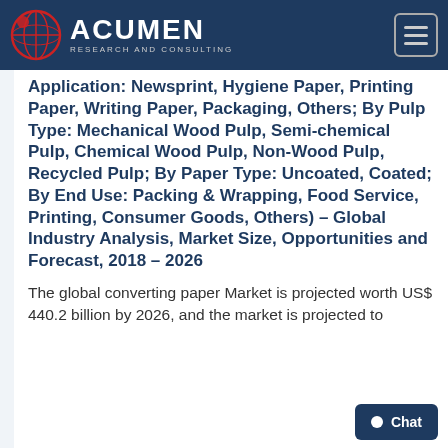Acumen Research and Consulting
Application: Newsprint, Hygiene Paper, Printing Paper, Writing Paper, Packaging, Others; By Pulp Type: Mechanical Wood Pulp, Semi-chemical Pulp, Chemical Wood Pulp, Non-Wood Pulp, Recycled Pulp; By Paper Type: Uncoated, Coated; By End Use: Packing & Wrapping, Food Service, Printing, Consumer Goods, Others) – Global Industry Analysis, Market Size, Opportunities and Forecast, 2018 – 2026
The global converting paper Market is projected worth US$ 440.2 billion by 2026, and the market is projected to